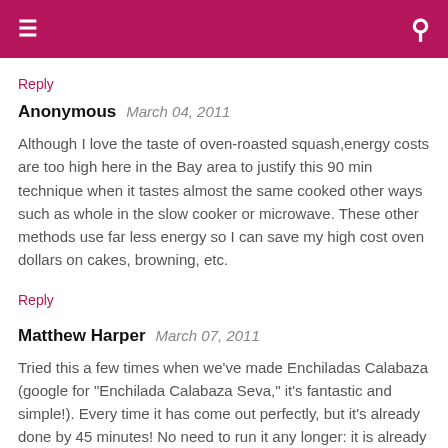≡  [search icon]
Reply
Anonymous  March 04, 2011
Although I love the taste of oven-roasted squash,energy costs are too high here in the Bay area to justify this 90 min technique when it tastes almost the same cooked other ways such as whole in the slow cooker or microwave. These other methods use far less energy so I can save my high cost oven dollars on cakes, browning, etc.
Reply
Matthew Harper  March 07, 2011
Tried this a few times when we've made Enchiladas Calabaza (google for "Enchilada Calabaza Seva," it's fantastic and simple!). Every time it has come out perfectly, but it's already done by 45 minutes! No need to run it any longer: it is already easy to effortlessly skin, mash up it and process into yummy enchiladas! Thanks so